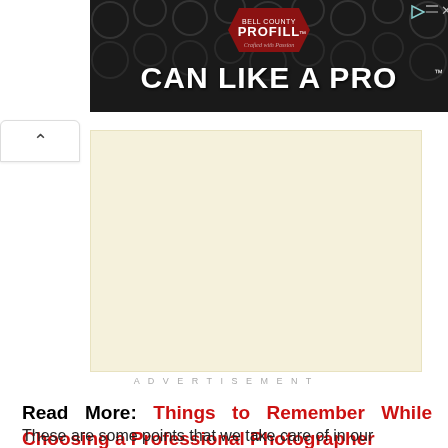[Figure (photo): Advertisement banner for PROFILL 'CAN LIKE A PRO' product, showing dark background with bottle caps and a red badge logo]
[Figure (other): Beige/cream colored advertisement placeholder rectangle]
ADVERTISEMENT
Read More: Things to Remember While Choosing a Professional Photographer
These are some points that we take care of in our